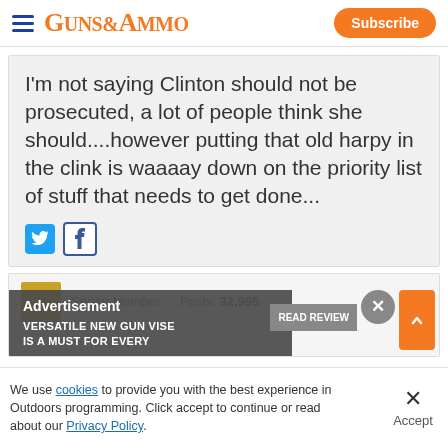Guns & Ammo — Subscribe
I'm not saying Clinton should not be prosecuted, a lot of people think she should....however putting that old harpy in the clink is waaaay down on the priority list of stuff that needs to get done...
Advertisement | Senior Member | Posts: 32,995
VERSATILE NEW GUN VISE IS A MUST FOR EVERY | READ REVIEW
We use cookies to provide you with the best experience in Outdoors programming. Click accept to continue or read about our Privacy Policy.